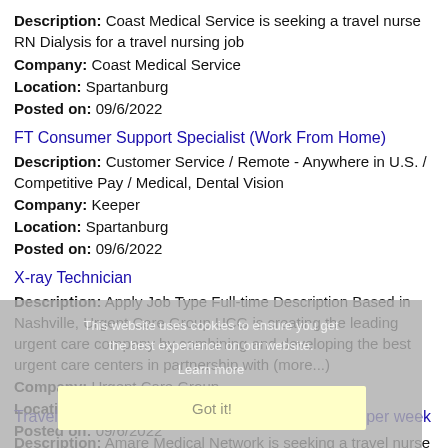Description: Coast Medical Service is seeking a travel nurse RN Dialysis for a travel nursing job
Company: Coast Medical Service
Location: Spartanburg
Posted on: 09/6/2022
FT Consumer Support Specialist (Work From Home)
Description: Customer Service / Remote - Anywhere in U.S. / Competitive Pay / Medical, Dental Vision
Company: Keeper
Location: Spartanburg
Posted on: 09/6/2022
X-ray Technician
Description: Apply Job Type Full-time Description Based in Nashville, Urgent Care Group UCG is creating the leading urgent care company by combining and developing the best urgent care centers in partnership with (more...)
Company: Urgent Care Group
Location: Spartanburg
Posted on: 09/6/2022
Travel Nurse RN - Med Surg / Telemetry - $2,718 per week
Description: Amare Medical Network is seeking a travel nurse RN